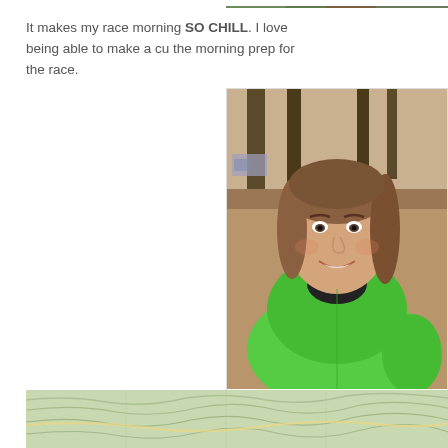[Figure (photo): Partial top strip of a photo at top right edge of page]
It makes my race morning SO CHILL. I love being able to make a cu the morning prep for the race.
[Figure (photo): Woman in green puffy jacket smiling, outdoors in a forested area with pine trees, getting ready for a race]
Getting ready for the race and waiting fo coffee to boil.
[Figure (map): Topographic map shown at the bottom of the page, green terrain]